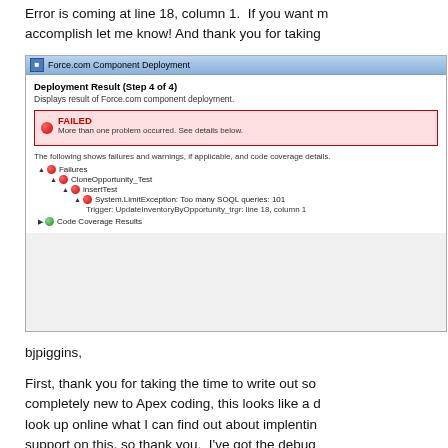Error is coming at line 18, column 1.  If you want more to accomplish let me know! And thank you for taking
[Figure (screenshot): Force.com Component Deployment dialog showing a FAILED deployment result with a System.LimitException: Too many SOQL queries: 101 error in CloneOpportunity_Test > insertTest, triggered by UpdateInventoryByOpportunity_trgr line 18, column 1. Also shows Code Coverage Results section.]
bjpiggins,
First, thank you for taking the time to write out some completely new to Apex coding, this looks like a da look up online what I can find out about implentin support on this, so thank you.  I've got the debug l help you understand any better about what is goi